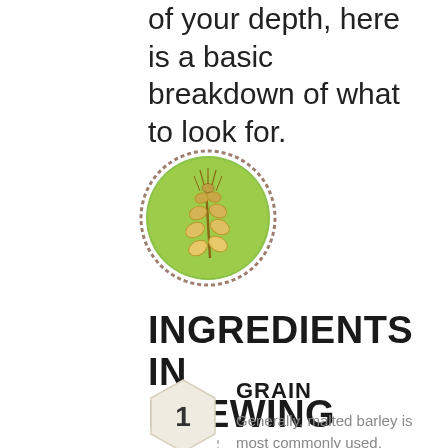of your depth, here is a basic breakdown of what to look for.
[Figure (illustration): A circular illustration with a green background showing a wheat/barley grain stalk, with a decorative brown border ring.]
INGREDIENTS IN BREWING
1 GRAIN - Generally, malted barley is most commonly used, however it is not out of place for the wheat, oat &